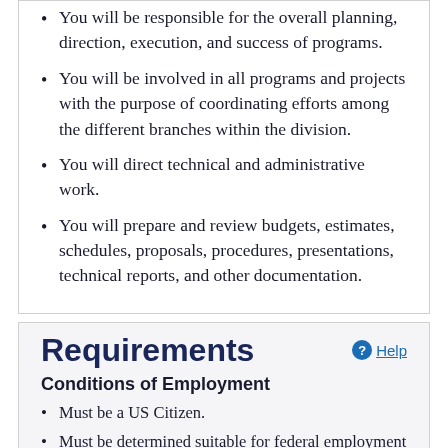You will be responsible for the overall planning, direction, execution, and success of programs.
You will be involved in all programs and projects with the purpose of coordinating efforts among the different branches within the division.
You will direct technical and administrative work.
You will prepare and review budgets, estimates, schedules, proposals, procedures, presentations, technical reports, and other documentation.
Requirements
Conditions of Employment
Must be a US Citizen.
Must be determined suitable for federal employment